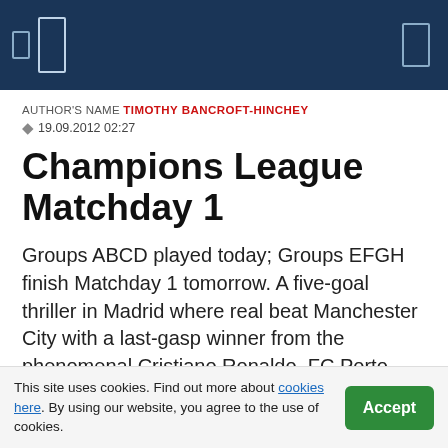AUTHOR'S NAME TIMOTHY BANCROFT-HINCHEY
19.09.2012 02:27
Champions League Matchday 1
Groups ABCD played today; Groups EFGH finish Matchday 1 tomorrow. A five-goal thriller in Madrid where real beat Manchester City with a last-gasp winner from the phenomenal Cristiano Ronaldo. FC Porto and PSG off to a strong start in Group A, Arsenal and Schalke in B; Malaga sank Zenit in C and Dortmund shares top spot in D.
This site uses cookies. Find out more about cookies here. By using our website, you agree to the use of cookies.